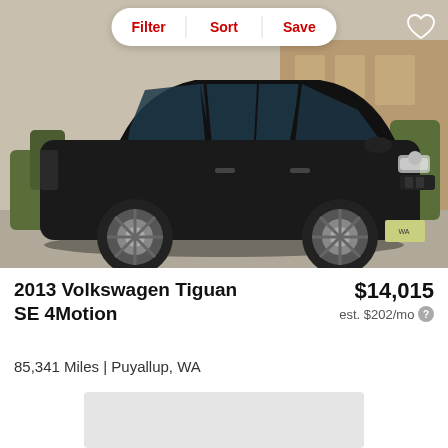[Figure (screenshot): Black Volkswagen Tiguan SE 4Motion SUV parked in a lot with a building in the background. Car listing photo with Filter, Sort, Save buttons overlay at top and heart/save icon in top right.]
2013 Volkswagen Tiguan SE 4Motion
$14,015
est. $202/mo
85,341 Miles | Puyallup, WA